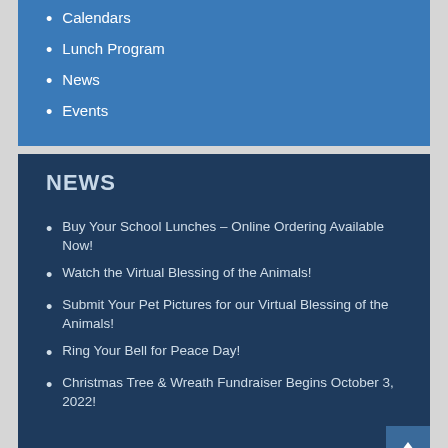Calendars
Lunch Program
News
Events
NEWS
Buy Your School Lunches – Online Ordering Available Now!
Watch the Virtual Blessing of the Animals!
Submit Your Pet Pictures for our Virtual Blessing of the Animals!
Ring Your Bell for Peace Day!
Christmas Tree & Wreath Fundraiser Begins October 3, 2022!